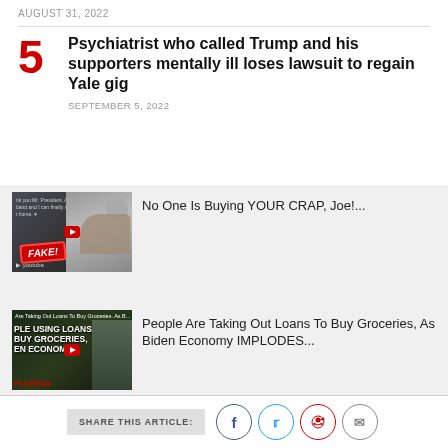AUGUST 31, 2022
Psychiatrist who called Trump and his supporters mentally ill loses lawsuit to regain Yale gig
SEPTEMBER 5, 2022
[Figure (screenshot): Video thumbnail with FAKE! label - No One Is Buying YOUR CRAP, Joe!...]
No One Is Buying YOUR CRAP, Joe!...
[Figure (screenshot): Video thumbnail - People Are Taking Out Loans To Buy Groceries, As Biden Economy IMPLODES...]
People Are Taking Out Loans To Buy Groceries, As Biden Economy IMPLODES...
SHARE THIS ARTICLE: